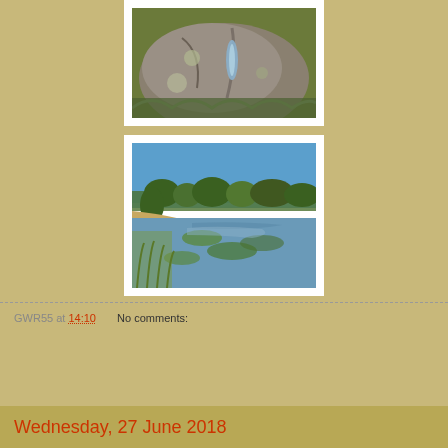[Figure (photo): Close-up photo of a rock or fossil with lichen, partially cropped at the top of the page]
[Figure (photo): Landscape photo of a river or lake scene with shallow water, green vegetation, grasses, and trees under a clear blue sky]
GWR55 at 14:10    No comments:
Share
Wednesday, 27 June 2018